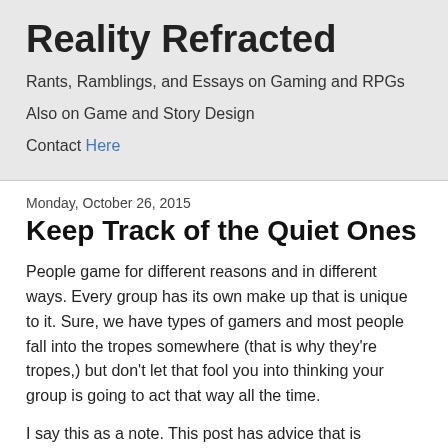Reality Refracted
Rants, Ramblings, and Essays on Gaming and RPGs
Also on Game and Story Design
Contact Here
Monday, October 26, 2015
Keep Track of the Quiet Ones
People game for different reasons and in different ways. Every group has its own make up that is unique to it. Sure, we have types of gamers and most people fall into the tropes somewhere (that is why they're tropes,) but don't let that fool you into thinking your group is going to act that way all the time.
I say this as a note. This post has advice that is cautionary,